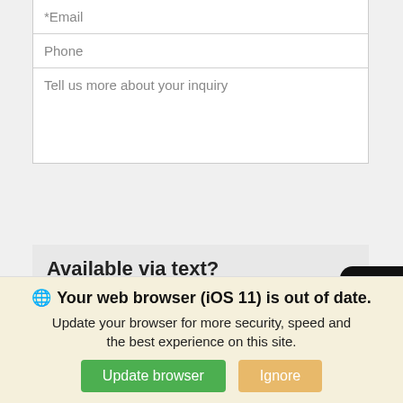[Figure (screenshot): Web form with email and phone input fields, a textarea for inquiry, available via text checkboxes (Yes/No), and a Get Our Best Price button. A sidebar widget shows Text Us, chat, phone, and Trade-in icons. A car image is partially visible below. A browser update banner at the bottom warns about iOS 11 being out of date with Update browser and Ignore buttons.]